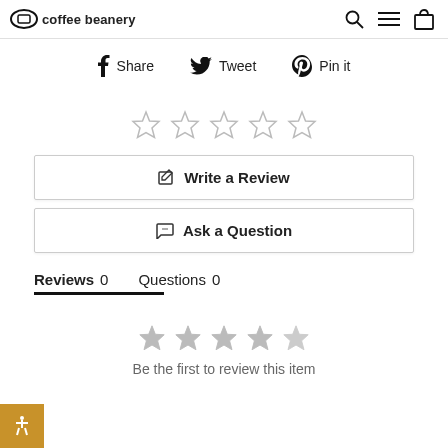Coffee Beanery
Share  Tweet  Pin it
[Figure (other): Five empty star rating icons]
Write a Review
Ask a Question
Reviews 0  Questions 0
[Figure (other): Five gray star rating icons]
Be the first to review this item